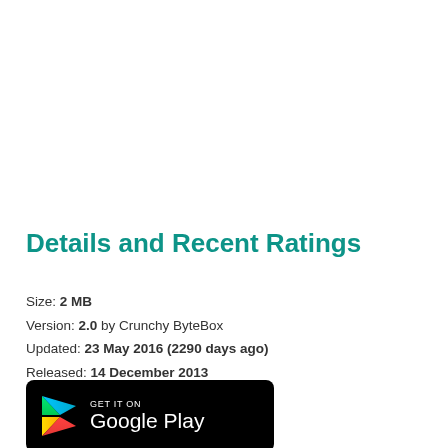Details and Recent Ratings
Size: 2 MB
Version: 2.0 by Crunchy ByteBox
Updated: 23 May 2016 (2290 days ago)
Released: 14 December 2013
Installations: more than 100 000
[Figure (logo): Google Play store badge — black rounded rectangle with Google Play triangle logo and text 'GET IT ON Google Play']